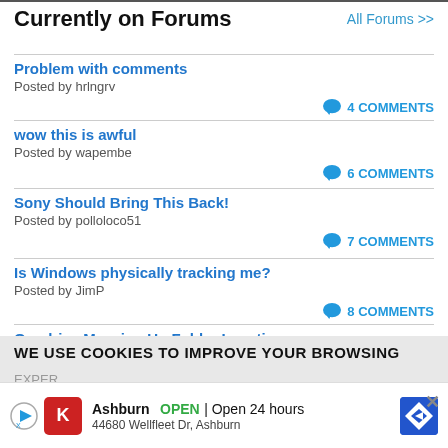Currently on Forums
Problem with comments
Posted by hrlngrv
4 COMMENTS
wow this is awful
Posted by wapembe
6 COMMENTS
Sony Should Bring This Back!
Posted by polloloco51
7 COMMENTS
Is Windows physically tracking me?
Posted by JimP
8 COMMENTS
Onedrive Messing Up Folder Locations
Posted by polloloco51
WE USE COOKIES TO IMPROVE YOUR BROWSING EXPER...
Find o...
Ashburn  OPEN | Open 24 hours
44680 Wellfleet Dr, Ashburn